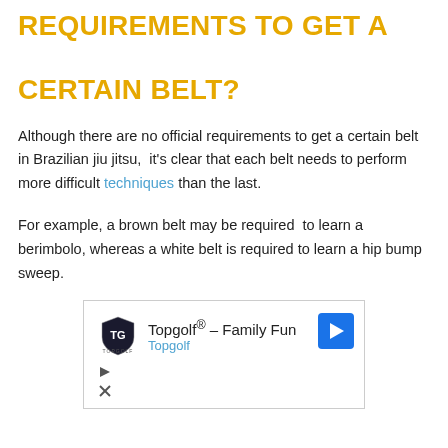REQUIREMENTS TO GET A CERTAIN BELT?
Although there are no official requirements to get a certain belt in Brazilian jiu jitsu,  it's clear that each belt needs to perform more difficult techniques than the last.
For example, a brown belt may be required  to learn a berimbolo, whereas a white belt is required to learn a hip bump sweep.
[Figure (other): Advertisement for Topgolf showing logo, text 'Topgolf® - Family Fun', 'Topgolf' link, navigation arrow icon, and ad control buttons.]